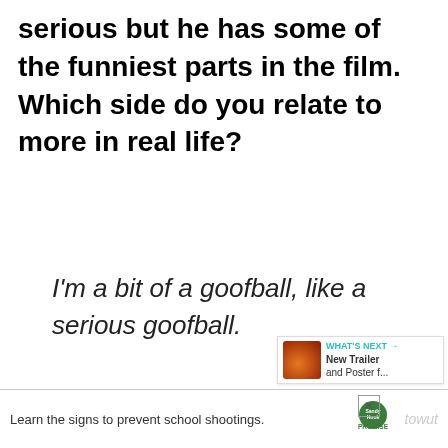serious but he has some of the funniest parts in the film. Which side do you relate to more in real life?
I'm a bit of a goofball, like a serious goofball.
Doctor Strange and Wong has this interesting relationship. They're a litt... bit chalk and cheese. The od... As much as he's got these incredible
[Figure (screenshot): Like button (teal circle with heart icon) and share button overlay with count 10]
[Figure (screenshot): WHAT'S NEXT: New Trailer and Poster f... overlay with Doctor Strange movie thumbnail]
[Figure (screenshot): Advertisement banner: Learn the signs to prevent school shootings. Sandy Hook Promise logo.]